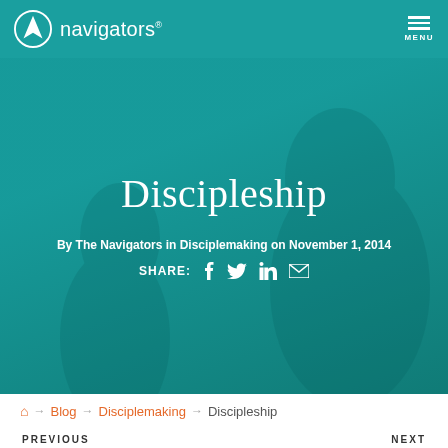navigators® MENU
Discipleship
By The Navigators in Disciplemaking on November 1, 2014
SHARE: f t in ✉
🏠 → Blog → Disciplemaking → Discipleship
PREVIOUS    NEXT